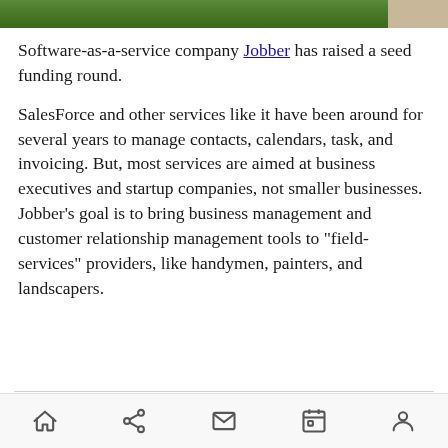[Figure (photo): Top portion of an image showing grass and what appears to be an animal, partially cropped]
Software-as-a-service company Jobber has raised a seed funding round.
SalesForce and other services like it have been around for several years to manage contacts, calendars, task, and invoicing. But, most services are aimed at business executives and startup companies, not smaller businesses. Jobber’s goal is to bring business management and customer relationship management tools to “field-services” providers, like handymen, painters, and landscapers.
[Figure (screenshot): Dark navigation bar partially visible at bottom of content]
Home | Share | Mail | Calendar | Profile — mobile navigation bar